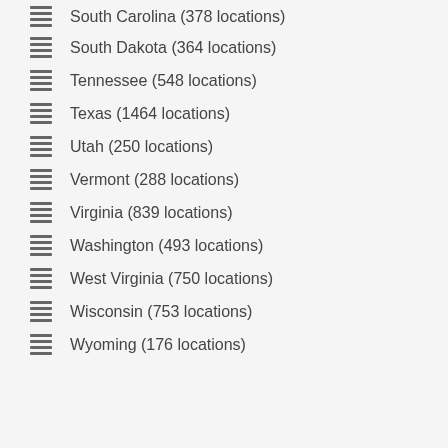South Carolina (378 locations)
South Dakota (364 locations)
Tennessee (548 locations)
Texas (1464 locations)
Utah (250 locations)
Vermont (288 locations)
Virginia (839 locations)
Washington (493 locations)
West Virginia (750 locations)
Wisconsin (753 locations)
Wyoming (176 locations)